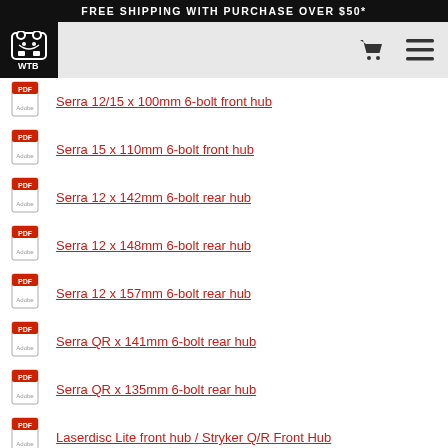FREE SHIPPING WITH PURCHASE OVER $50*
[Figure (logo): WTB logo - bear head icon with WTB text in black box]
Serra 12/15 x 100mm 6-bolt front hub
Serra 15 x 110mm 6-bolt front hub
Serra 12 x 142mm 6-bolt rear hub
Serra 12 x 148mm 6-bolt rear hub
Serra 12 x 157mm 6-bolt rear hub
Serra QR x 141mm 6-bolt rear hub
Serra QR x 135mm 6-bolt rear hub
Laserdisc Lite front hub / Stryker Q/R Front Hub
Laserdisc Lite rear hub / Stryker Q/R Rear Hub
Single Duty rear hub